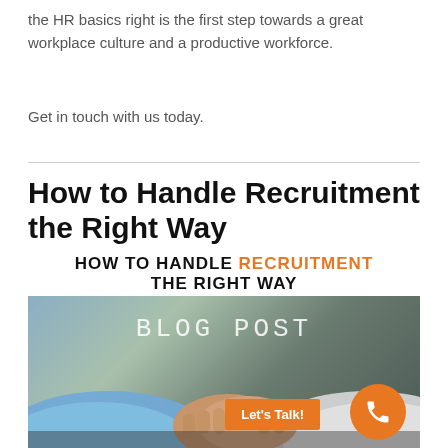the HR basics right is the first step towards a great workplace culture and a productive workforce.
Get in touch with us today.
How to Handle Recruitment the Right Way
[Figure (photo): Blog post image with text 'HOW TO HANDLE RECRUITMENT THE RIGHT WAY' above a photo of two people shaking hands. The image includes 'BLOG POST' text overlay, an orange 'Let's Talk!' button, and an orange phone icon circle in the bottom right corner.]